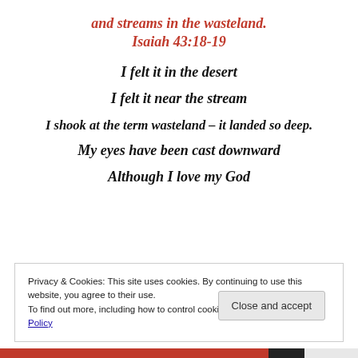and streams in the wasteland.
Isaiah 43:18-19
I felt it in the desert
I felt it near the stream
I shook at the term wasteland – it landed so deep.
My eyes have been cast downward
Although I love my God
Privacy & Cookies: This site uses cookies. By continuing to use this website, you agree to their use.
To find out more, including how to control cookies, see here: Cookie Policy
Close and accept